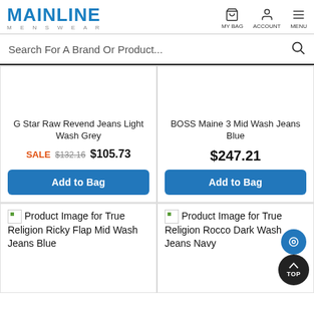MAINLINE MENSWEAR
Search For A Brand Or Product...
G Star Raw Revend Jeans Light Wash Grey
SALE $132.16 $105.73
Add to Bag
BOSS Maine 3 Mid Wash Jeans Blue
$247.21
Add to Bag
[Figure (photo): Product Image for True Religion Ricky Flap Mid Wash Jeans Blue]
Product Image for True Religion Ricky Flap Mid Wash Jeans Blue
[Figure (photo): Product Image for True Religion Rocco Dark Wash Jeans Navy]
Product Image for True Religion Rocco Dark Wash Jeans Navy